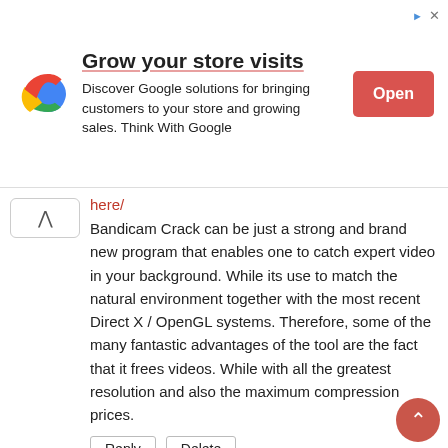[Figure (infographic): Google advertisement banner with Google G logo, title 'Grow your store visits', body text 'Discover Google solutions for bringing customers to your store and growing sales. Think With Google', and a red 'Open' button. Top right has arrow and X icons.]
here/
Bandicam Crack can be just a strong and brand new program that enables one to catch expert video in your background. While its use to match the natural environment together with the most recent Direct X / OpenGL systems. Therefore, some of the many fantastic advantages of the tool are the fact that it frees videos. While with all the greatest resolution and also the maximum compression prices.
Reply   Delete
UNKNOWN
December 8, 2021 at 3:31 AM
✕ CLOSE
https://activatorscrack.com/vuescan-crack-torrent-july/
VueScan Torrent is a PC software for image scanning, specifically drawing and pictures. It supports optical character recognition of text material. The installation of this program is freeware. It is originated from the Hamrick